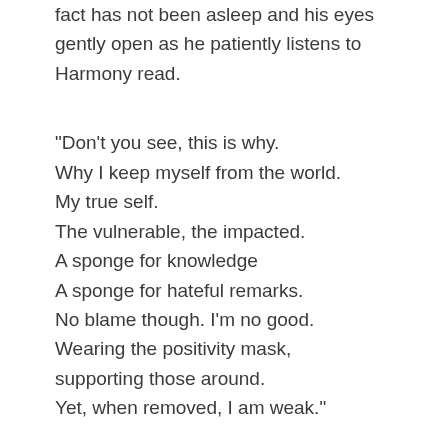fact has not been asleep and his eyes gently open as he patiently listens to Harmony read.
“Don’t you see, this is why.
Why I keep myself from the world.
My true self.
The vulnerable, the impacted.
A sponge for knowledge
A sponge for hateful remarks.
No blame though. I’m no good.
Wearing the positivity mask,
supporting those around.
Yet, when removed, I am weak.”
Harmony is crying through her words and pauses to wipe her tears. She